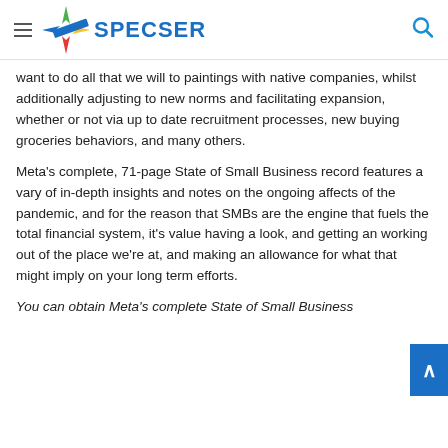SPECSER
want to do all that we will to paintings with native companies, whilst additionally adjusting to new norms and facilitating expansion, whether or not via up to date recruitment processes, new buying groceries behaviors, and many others.
Meta's complete, 71-page State of Small Business record features a vary of in-depth insights and notes on the ongoing affects of the pandemic, and for the reason that SMBs are the engine that fuels the total financial system, it's value having a look, and getting an working out of the place we're at, and making an allowance for what that might imply on your long term efforts.
You can obtain Meta's complete State of Small Business Report March 2022…